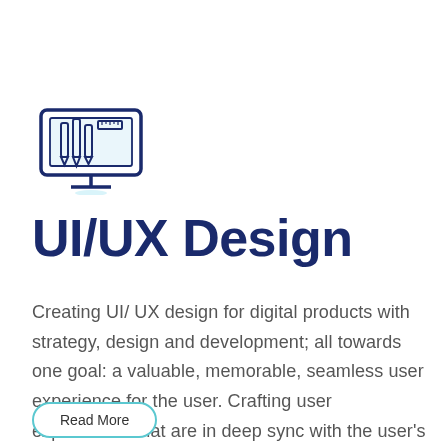[Figure (illustration): A monitor/screen icon with design tools (pencils, ruler) displayed on screen, with a small colored accent underneath, rendered in blue outline style]
UI/UX Design
Creating UI/ UX design for digital products with strategy, design and development; all towards one goal: a valuable, memorable, seamless user experience for the user. Crafting user experiences that are in deep sync with the user’s need, that makes your business soar high!
Read More